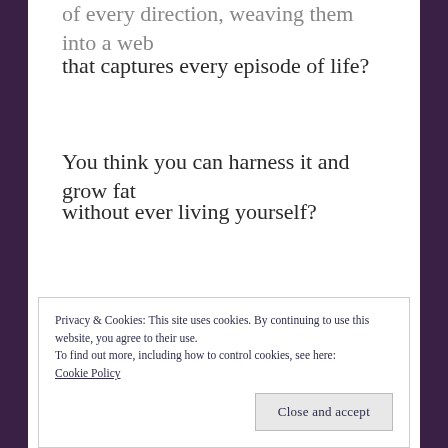of every direction, weaving them into a web that captures every episode of life?
You think you can harness it and grow fat
without ever living yourself?
Privacy & Cookies: This site uses cookies. By continuing to use this website, you agree to their use. To find out more, including how to control cookies, see here: Cookie Policy
Close and accept